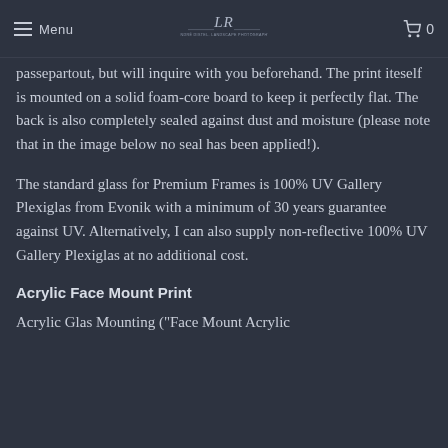Menu | [Logo: André Distel Landscape Photography] | 0
passepartout, but will inquire with you beforehand. The print iteself is mounted on a solid foam-core board to keep it perfectly flat. The back is also completely sealed against dust and moisture (please note that in the image below no seal has been applied!).
The standard glass for Premium Frames is 100% UV Gallery Plexiglas from Evonik with a minimum of 30 years guarantee against UV. Alternatively, I can also supply non-reflective 100% UV Gallery Plexiglas at no additional cost.
Acrylic Face Mount Print
Acrylic Glas Mounting ("Face Mount Acrylic